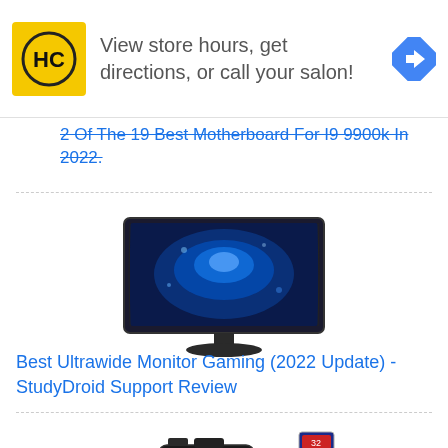[Figure (other): Advertisement banner with HC hair salon logo (black H and C letters on yellow background), text 'View store hours, get directions, or call your salon!', and blue diamond navigation icon]
2 Of The 19 Best Motherboard For I9 9900k In 2022.
[Figure (photo): Curved ultrawide gaming monitor displaying a blue gaming background scene, on a dark stand]
Best Ultrawide Monitor Gaming (2022 Update) - StudyDroid Support Review
[Figure (photo): DSLR camera kit with lenses, SD card, and accessories]